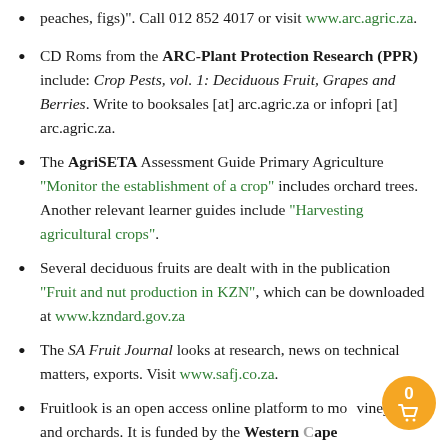peaches, figs)". Call 012 852 4017 or visit www.arc.agric.za.
CD Roms from the ARC-Plant Protection Research (PPR) include: Crop Pests, vol. 1: Deciduous Fruit, Grapes and Berries. Write to booksales [at] arc.agric.za or infopri [at] arc.agric.za.
The AgriSETA Assessment Guide Primary Agriculture "Monitor the establishment of a crop" includes orchard trees. Another relevant learner guides include "Harvesting agricultural crops".
Several deciduous fruits are dealt with in the publication "Fruit and nut production in KZN", which can be downloaded at www.kzndard.gov.za
The SA Fruit Journal looks at research, news on technical matters, exports. Visit www.safj.co.za.
Fruitlook is an open access online platform to monitor vineyards and orchards. It is funded by the Western Cape